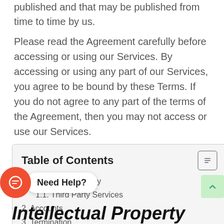published and that may be published from time to time by us.
Please read the Agreement carefully before accessing or using our Services. By accessing or using any part of our Services, you agree to be bound by these Terms. If you do not agree to any part of the terms of the Agreement, then you may not access or use our Services.
| 1. Intellectual Property |
| 1.1. Third Party Services |
| 2. Accounts |
| 3. Termination |
| 4. Disclaimer |
| 4.1. Jurisdiction and Applicable Law |
| 5. Changes |
Intellectual Property